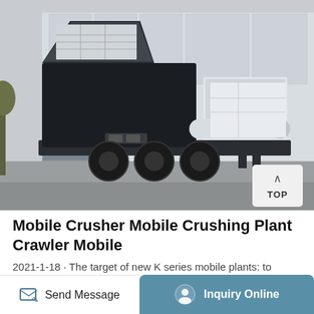[Figure (photo): Mobile crushing plant / crawler mobile on a flatbed trailer, photographed outdoors in front of a warehouse. Large industrial machine with black frame, white panels, hydraulic arms and triple axle wheels.]
Mobile Crusher Mobile Crushing Plant Crawler Mobile
2021-1-18 · The target of new K series mobile plants: to maximize the clients' investment. The KEFID inputs substantial contribution to R&D of K SERIES MOBILE CRUSHING PLANTS
Send Message | Inquiry Online